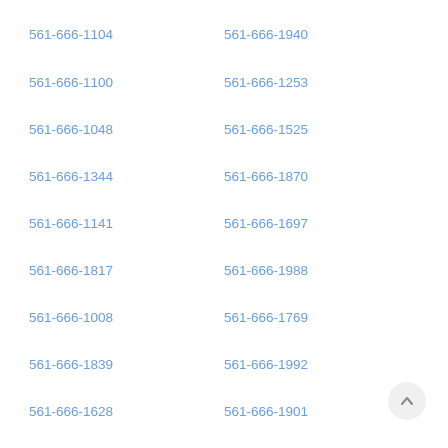561-666-1104
561-666-1940
561-666-1100
561-666-1253
561-666-1048
561-666-1525
561-666-1344
561-666-1870
561-666-1141
561-666-1697
561-666-1817
561-666-1988
561-666-1008
561-666-1769
561-666-1839
561-666-1992
561-666-1628
561-666-1901